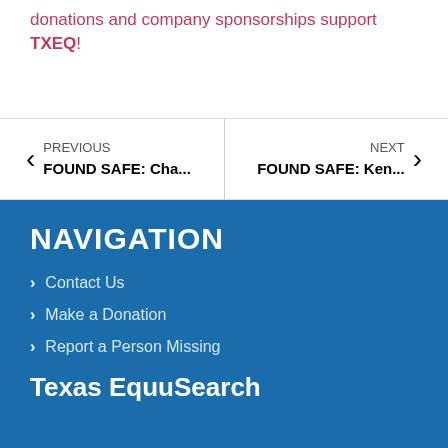donations and company sponsorships support TXEQ!
PREVIOUS FOUND SAFE: Cha...
NEXT FOUND SAFE: Ken...
NAVIGATION
Contact Us
Make a Donation
Report a Person Missing
Texas EquuSearch